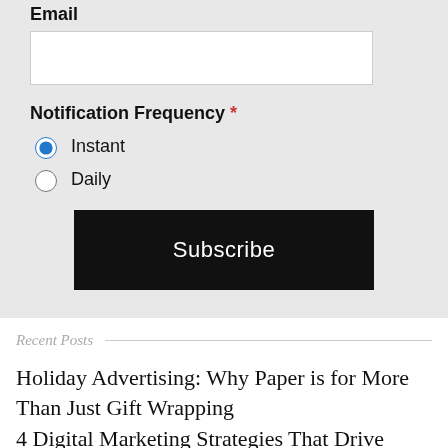Email
Notification Frequency *
Instant
Daily
Subscribe
Recent Posts
Holiday Advertising: Why Paper is for More Than Just Gift Wrapping
4 Digital Marketing Strategies That Drive Healthcare Marketing Outcomes